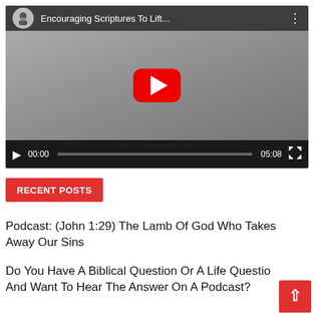[Figure (screenshot): YouTube video player showing 'Encouraging Scriptures To Lift...' with channel icon, play button overlay, control bar showing 00:00 and 05:08 duration]
RECENT POSTS
Podcast: (John 1:29) The Lamb Of God Who Takes Away Our Sins
Do You Have A Biblical Question Or A Life Question And Want To Hear The Answer On A Podcast?